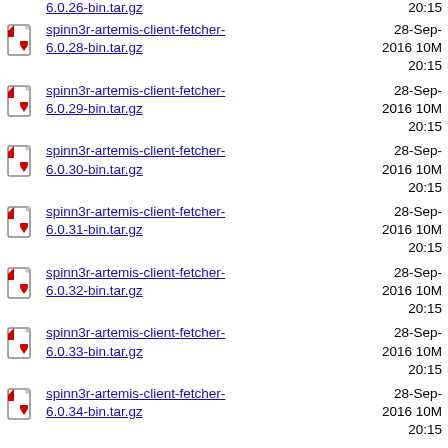6.0.26-bin.tar.gz  28-Sep-2016 20:15  10M
spinn3r-artemis-client-fetcher-6.0.28-bin.tar.gz  28-Sep-2016 20:15  10M
spinn3r-artemis-client-fetcher-6.0.29-bin.tar.gz  28-Sep-2016 20:15  10M
spinn3r-artemis-client-fetcher-6.0.30-bin.tar.gz  28-Sep-2016 20:15  10M
spinn3r-artemis-client-fetcher-6.0.31-bin.tar.gz  28-Sep-2016 20:15  10M
spinn3r-artemis-client-fetcher-6.0.32-bin.tar.gz  28-Sep-2016 20:15  10M
spinn3r-artemis-client-fetcher-6.0.33-bin.tar.gz  28-Sep-2016 20:15  10M
spinn3r-artemis-client-fetcher-6.0.34-bin.tar.gz  28-Sep-2016 20:15  10M
spinn3r-artemis-client-fetcher-  28-Sep-